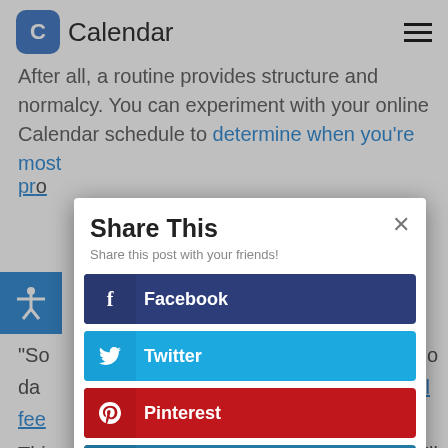Calendar
After all, a routine provides structure and normalcy. You can experiment with your online Calendar schedule to determine when you're most productive.
[Figure (screenshot): Share This modal dialog with social sharing buttons for Facebook, Twitter, Pinterest, and LinkedIn over a blurred article background]
Share This
Share this post with your friends!
Facebook
Twitter
Pinterest
LinkedIn